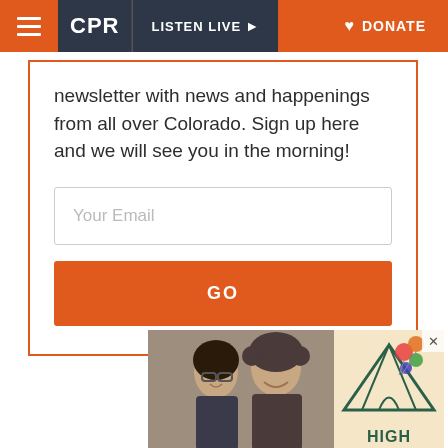CPR | LISTEN LIVE | DONATE
newsletter with news and happenings from all over Colorado. Sign up here and we will see you in the morning!
Your Email
GO
[Figure (photo): Advertisement showing two people (a man and woman with curly hair) smiling, alongside a graphic of a tent with the word HIGH and colorful balloons]